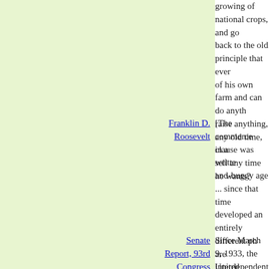growing of national crops, and go back to the old principle that ever of his own farm and can do anyth raise anything, any old time, in a sell any time he wants?
Franklin D. Roosevelt [The commerce clause was writte and-buggy age ... since that time developed an entirely different ph are interdependent, we are tied i the hope has been that we could of years, interpret the interstate c of the Constitution in the light of t that have come to the country. It hope that under the interstate co we could recognize by legislation decision that a harmful practice i the country could be prevented o was doing harm to another sectio That was why the Congress for a years, and most lawyers, have ha in drafting legislation we could de interpretation that would enlarge meaning of interstate commerce those matters of direct interstate also those matters which indirect commerce.
Senate Report, 93rd Congress Since March 9, 1933, the United in a state of declared national em the powers delegated by these st